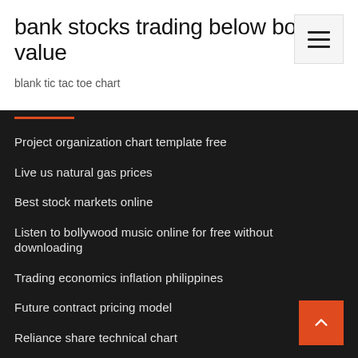bank stocks trading below book value
blank tic tac toe chart
Project organization chart template free
Live us natural gas prices
Best stock markets online
Listen to bollywood music online for free without downloading
Trading economics inflation philippines
Future contract pricing model
Reliance share technical chart
Ta charta nashe da nazara mp3 download